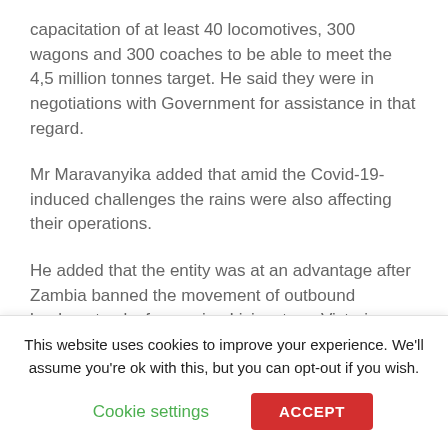capacitation of at least 40 locomotives, 300 wagons and 300 coaches to be able to meet the 4,5 million tonnes target. He said they were in negotiations with Government for assistance in that regard.
Mr Maravanyika added that amid the Covid-19-induced challenges the rains were also affecting their operations.
He added that the entity was at an advantage after Zambia banned the movement of outbound haulage trucks from using Livingstone-Victoria Falls border post.
“This is why we are saying NRZ must be ready when
This website uses cookies to improve your experience. We'll assume you're ok with this, but you can opt-out if you wish.